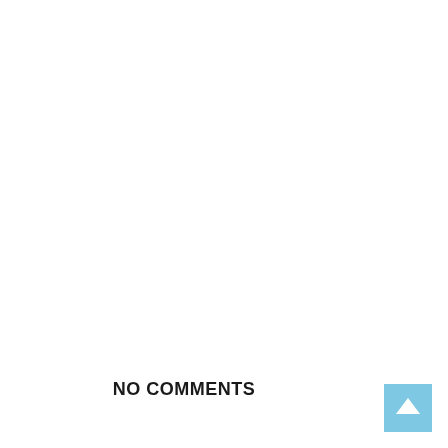NO COMMENTS
[Figure (other): Back to top button — light blue square with white upward-pointing arrow]